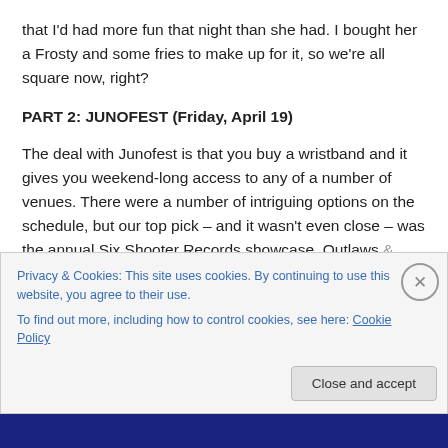that I'd had more fun that night than she had. I bought her a Frosty and some fries to make up for it, so we're all square now, right?
PART 2: JUNOFEST (Friday, April 19)
The deal with Junofest is that you buy a wristband and it gives you weekend-long access to any of a number of venues. There were a number of intriguing options on the schedule, but our top pick – and it wasn't even close – was the annual Six Shooter Records showcase, Outlaws & Gunslingers. This year, it was being held at the
Privacy & Cookies: This site uses cookies. By continuing to use this website, you agree to their use.
To find out more, including how to control cookies, see here: Cookie Policy
Close and accept